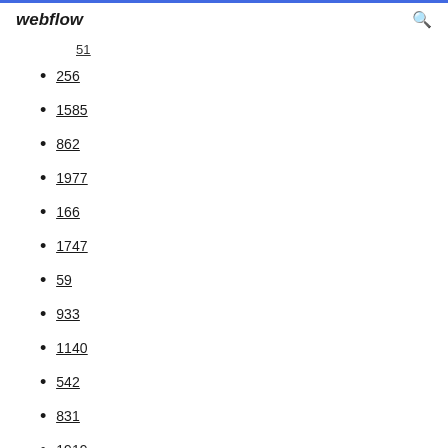webflow
51
256
1585
862
1977
166
1747
59
933
1140
542
831
1919